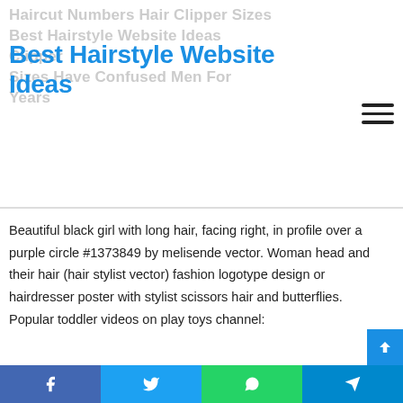Haircut Numbers Hair Clipper Sizes
Best Hairstyle Website Ideas
Beautiful black girl with long hair, facing right, in profile over a purple circle #1373849 by melisende vector. Woman head and their hair (hair stylist vector) fashion logotype design or hairdresser poster with stylist scissors hair and butterflies. Popular toddler videos on play toys channel:
Royalty Free Rf Stock Image Gallery Featuring Clipart Of Haircuts.